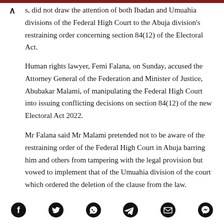s, did not draw the attention of both Ibadan and Umuahia divisions of the Federal High Court to the Abuja division's restraining order concerning section 84(12) of the Electoral Act.
Human rights lawyer, Femi Falana, on Sunday, accused the Attorney General of the Federation and Minister of Justice, Abubakar Malami, of manipulating the Federal High Court into issuing conflicting decisions on section 84(12) of the new Electoral Act 2022.
Mr Falana said Mr Malami pretended not to be aware of the restraining order of the Federal High Court in Abuja barring him and others from tampering with the legal provision but vowed to implement that of the Umuahia division of the court which ordered the deletion of the clause from the law.
[Figure (infographic): Social media sharing icons: Facebook, Twitter, WhatsApp, Telegram, Email, Messenger]